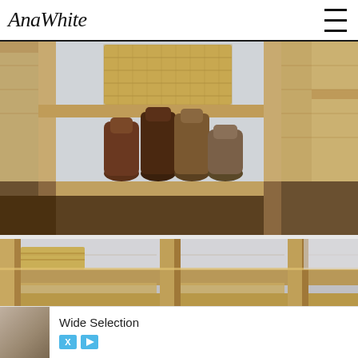AnaWhite [logo] [hamburger menu]
[Figure (photo): Close-up of a rustic wooden shelving unit with compartments. Center compartment shows a wicker basket on top shelf and several pairs of boots on the lower shelf. Wide plank wood construction with visible grain and weathered texture. Gray floor visible at the bottom.]
[Figure (photo): Lower angle view of the same rustic wooden shelving unit showing the horizontal shelves and vertical dividers from below. Gray wall visible in background and upper right. Wicker basket partially visible on left side.]
Wide Selection